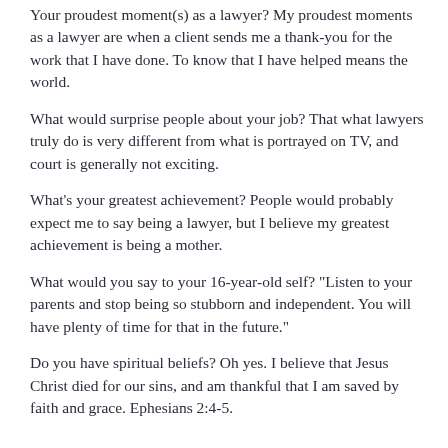Your proudest moment(s) as a lawyer? My proudest moments as a lawyer are when a client sends me a thank-you for the work that I have done. To know that I have helped means the world.
What would surprise people about your job? That what lawyers truly do is very different from what is portrayed on TV, and court is generally not exciting.
What's your greatest achievement? People would probably expect me to say being a lawyer, but I believe my greatest achievement is being a mother.
What would you say to your 16-year-old self? "Listen to your parents and stop being so stubborn and independent. You will have plenty of time for that in the future."
Do you have spiritual beliefs? Oh yes. I believe that Jesus Christ died for our sins, and am thankful that I am saved by faith and grace. Ephesians 2:4-5.